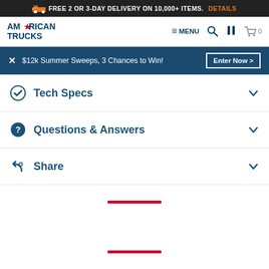FREE 2 OR 3-DAY DELIVERY ON 10,000+ ITEMS. DETAILS
[Figure (logo): American Trucks logo with stylized A star]
≡ MENU
$12k Summer Sweeps, 3 Chances to Win! Enter Now >
Tech Specs
Questions & Answers
Share